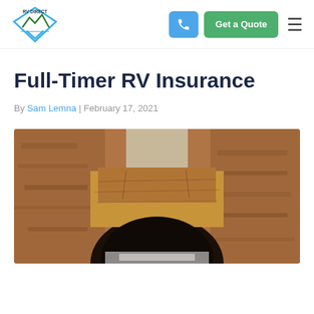[Figure (logo): RV Direct logo — diamond shape with mountain peaks and arrow, green and blue colors, text 'RV DIRECT' above]
Get a Quote
Full-Timer RV Insurance
By Sam Lemna | February 17, 2021
[Figure (photo): Photo of an RV driving through or parked near a natural rock arch/tunnel carved into reddish-brown sandstone cliffs]